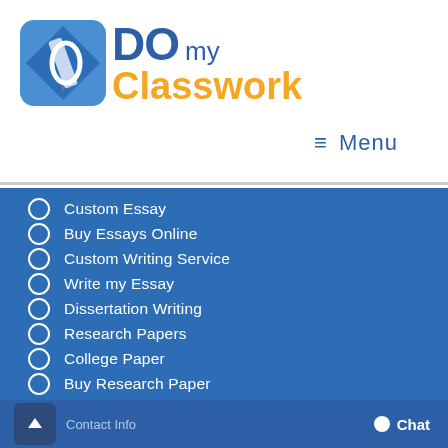[Figure (logo): Do my Classwork logo with blue diamond shape with pen and circular DO text, followed by 'my' in blue and 'Classwork' in orange]
≡  Menu
Custom Essay
Buy Essays Online
Custom Writing Service
Write my Essay
Dissertation Writing
Research Papers
College Paper
Buy Research Paper
Contact Info   Chat